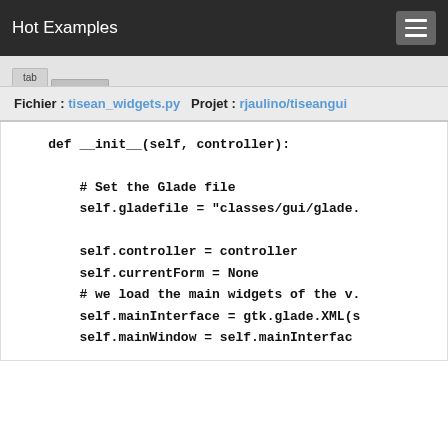Hot Examples
Fichier : tisean_widgets.py   Projet : rjaulino/tiseangui
def __init__(self, controller):

        # Set the Glade file
        self.gladefile = "classes/gui/glade.

        self.controller = controller
        self.currentForm = None
        # we load the main widgets of the v.
        self.mainInterface = gtk.glade.XML(
        self.mainWindow = self.mainInterfac